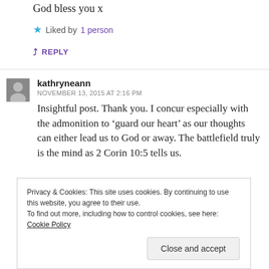God bless you x
Liked by 1 person
REPLY
kathryneann
NOVEMBER 13, 2015 AT 2:16 PM
Insightful post. Thank you. I concur especially with the admonition to ‘guard our heart’ as our thoughts can either lead us to God or away. The battlefield truly is the mind as 2 Corin 10:5 tells us.
Privacy & Cookies: This site uses cookies. By continuing to use this website, you agree to their use. To find out more, including how to control cookies, see here: Cookie Policy
Close and accept